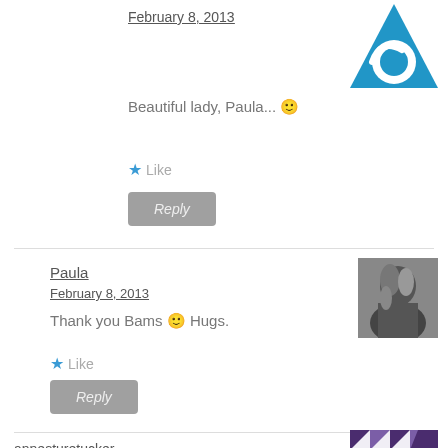February 8, 2013
Beautiful lady, Paula... 🙂
★ Like
Reply
Paula
February 8, 2013
Thank you Bams 🙂 Hugs.
★ Like
Reply
annesturetucker
February 8, 2013